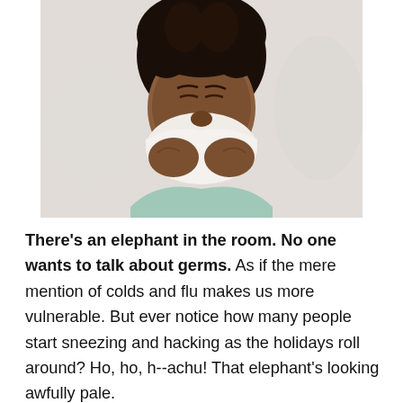[Figure (photo): A woman with curly dark hair blowing her nose into a white tissue, eyes closed, against a light background. She appears to be sneezing or blowing her nose.]
There's an elephant in the room. No one wants to talk about germs. As if the mere mention of colds and flu makes us more vulnerable. But ever notice how many people start sneezing and hacking as the holidays roll around? Ho, ho, h--achu! That elephant's looking awfully pale.